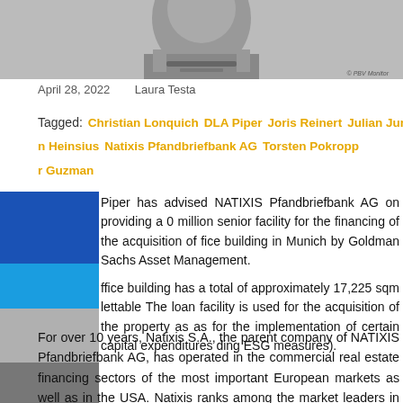[Figure (photo): Black and white illustration/sketch of a person in formal attire, with copyright mark '© PBV Monitor' in bottom right]
April 28, 2022    Laura Testa
Tagged: Christian Lonquich   DLA Piper   Joris Reinert   Julian Jung   n Heinsius   Natixis Pfandbriefbank AG   Torsten Pokropp   r Guzman
Piper has advised NATIXIS Pfandbriefbank AG on providing a 0 million senior facility for the financing of the acquisition of fice building in Munich by Goldman Sachs Asset Management.
ffice building has a total of approximately 17,225 sqm lettable The loan facility is used for the acquisition of the property as as for the implementation of certain capital expenditures ding ESG measures).
For over 10 years, Natixis S.A., the parent company of NATIXIS Pfandbriefbank AG, has operated in the commercial real estate financing sectors of the most important European markets as well as in the USA. Natixis ranks among the market leaders in Europe in